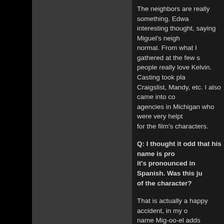The neighbors are really something. Edward had an interesting thought, saying Miguel's neighborhood is fairly normal. From what I gathered at the few screenings I did, people really love Kelvin. Casting took place via Craigslist, Mandy, etc. I also came into contact with agencies in Michigan who were very helpful in finding looks for the film's characters.
Q: I thought it odd that his name is pronounced as it's pronounced in Spanish. Was this just a quirk of the character?
That is actually a happy accident, in my opinion. The name Mig-oo-el adds strangeness to the character. As auditioning pointed out, but Miguel was a common name, much younger, about five or six. I had only seen the did, Mig-oo-el is how I thought it was pronounced and I knew I would keep the name in mind for when a film warranted it. I had a good laugh when halfway through it finally dawned on me that this was in fact incorrect. Absolutely devastated, and now aware what people call Mig-oo-el, I wasn't sure whether to change it for the film, my adolescent pronunciation remains.
Q: The special effects were great, very
For the film, I really wanted to go for that e were done on set, as I wished to stay from to say we accomplished that goal and I th experience more fun and real on set as w did an extraordinary job.